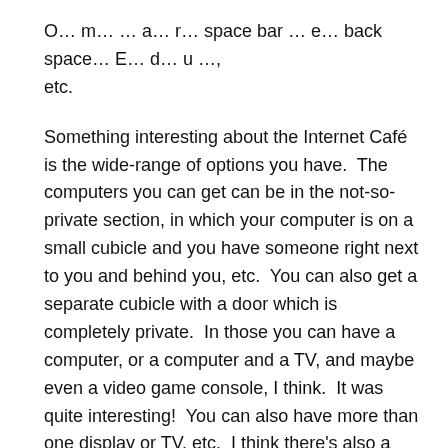O… m… … a… r… space bar … e… back space… E… d… u …, etc.
Something interesting about the Internet Café is the wide-range of options you have.  The computers you can get can be in the not-so-private section, in which your computer is on a small cubicle and you have someone right next to you and behind you, etc.  You can also get a separate cubicle with a door which is completely private.  In those you can have a computer, or a computer and a TV, and maybe even a video game console, I think.  It was quite interesting!  You can also have more than one display or TV, etc.  I think there's also a non-smoking section, I'll ask about that next time.
Another thing is, there are food and drinks you can get